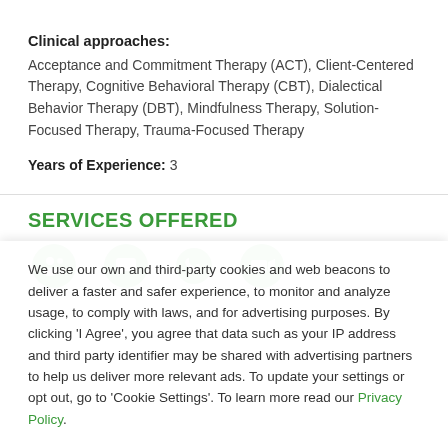Clinical approaches: Acceptance and Commitment Therapy (ACT), Client-Centered Therapy, Cognitive Behavioral Therapy (CBT), Dialectical Behavior Therapy (DBT), Mindfulness Therapy, Solution-Focused Therapy, Trauma-Focused Therapy
Years of Experience: 3
SERVICES OFFERED
[Figure (infographic): Row of green icons representing service types (in-person, chat, phone, video)]
We use our own and third-party cookies and web beacons to deliver a faster and safer experience, to monitor and analyze usage, to comply with laws, and for advertising purposes. By clicking 'I Agree', you agree that data such as your IP address and third party identifier may be shared with advertising partners to help us deliver more relevant ads. To update your settings or opt out, go to 'Cookie Settings'. To learn more read our Privacy Policy.